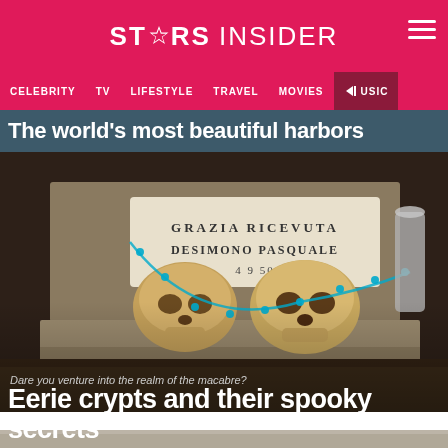STARS INSIDER
CELEBRITY  TV  LIFESTYLE  TRAVEL  MOVIES  MUSIC
The world's most beautiful harbors
[Figure (photo): Two skulls in a stone compartment with a plaque reading 'GRAZIA RICEVUTA DESIMONO PASQUALE 4 9 50', decorated with a blue rosary bead chain]
Dare you venture into the realm of the macabre?
Eerie crypts and their spooky secrets
[Figure (photo): Partial view of another image at bottom of page, showing a grey/stone background]